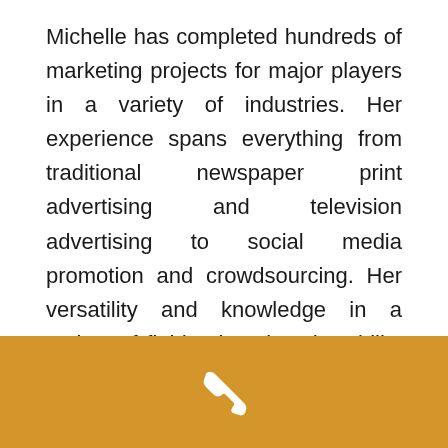Michelle has completed hundreds of marketing projects for major players in a variety of industries. Her experience spans everything from traditional newspaper print advertising and television advertising to social media promotion and crowdsourcing. Her versatility and knowledge in a variety of fields gives her the ability to design effective marketing strategies for a variety of different client needs.

In her current position, Michelle is responsible
[Figure (illustration): White telephone/phone handset icon centered on a golden-orange background footer bar]